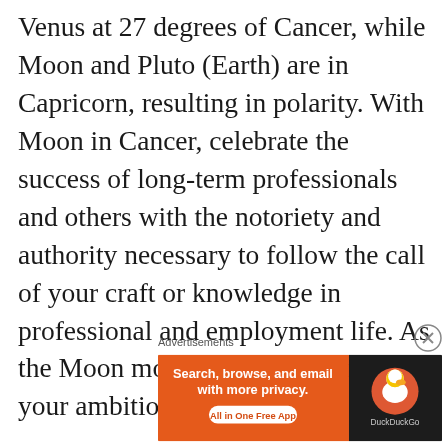Venus at 27 degrees of Cancer, while Moon and Pluto (Earth) are in Capricorn, resulting in polarity. With Moon in Cancer, celebrate the success of long-term professionals and others with the notoriety and authority necessary to follow the call of your craft or knowledge in professional and employment life. As the Moon moves into Capricorn and your ambitious
Advertisements
[Figure (infographic): DuckDuckGo advertisement banner: orange left panel with text 'Search, browse, and email with more privacy. All in One Free App' and dark right panel with DuckDuckGo duck logo and brand name.]